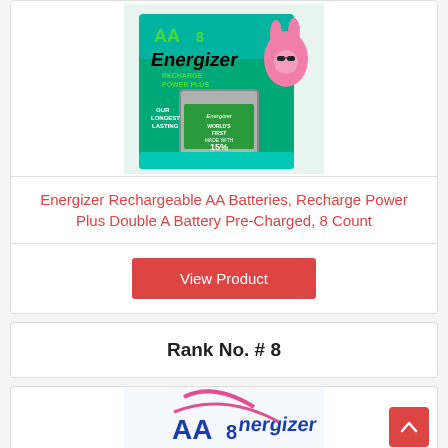[Figure (photo): Energizer Recharge Power Plus AA8 battery pack product image with pink Energizer bunny mascot]
Energizer Rechargeable AA Batteries, Recharge Power Plus Double A Battery Pre-Charged, 8 Count
View Product
Rank No. # 8
[Figure (photo): Energizer AA8 battery pack partially visible at bottom]